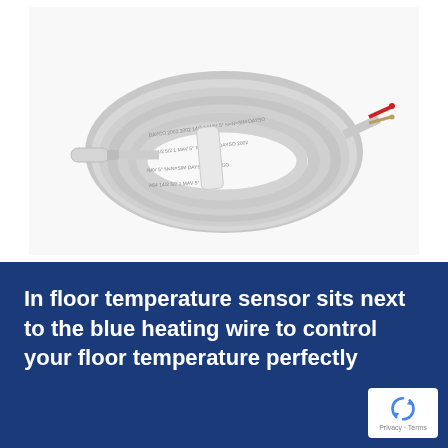[Figure (photo): A coiled gray temperature sensor cable with a cylindrical sensor probe on one end and exposed red/copper wires on the other end, coiled in a circular bundle on a white background. Text printed along the cable length is visible.]
In floor temperature sensor sits next to the blue heating wire to control your floor temperature perfectly
Privacy · Terms